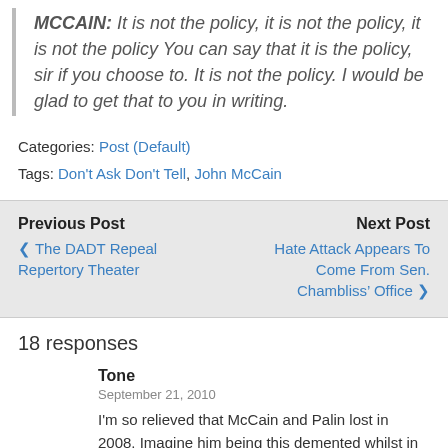MCCAIN: It is not the policy, it is not the policy, it is not the policy You can say that it is the policy, sir if you choose to. It is not the policy. I would be glad to get that to you in writing.
Categories: Post (Default)
Tags: Don't Ask Don't Tell, John McCain
Previous Post
< The DADT Repeal Repertory Theater
Next Post
Hate Attack Appears To Come From Sen. Chambliss' Office >
18 responses
Tone
September 21, 2010
I'm so relieved that McCain and Palin lost in 2008. Imagine him being this demented whilst in the Oval Office...